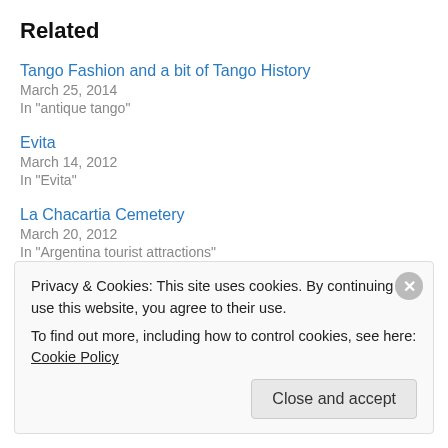Related
Tango Fashion and a bit of Tango History
March 25, 2014
In "antique tango"
Evita
March 14, 2012
In "Evita"
La Chacartia Cemetery
March 20, 2012
In "Argentina tourist attractions"
Privacy & Cookies: This site uses cookies. By continuing to use this website, you agree to their use.
To find out more, including how to control cookies, see here: Cookie Policy